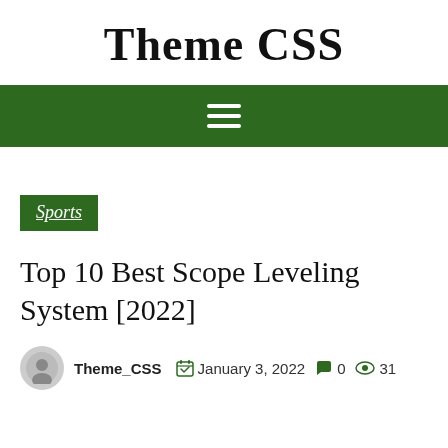Theme CSS
[Figure (other): Dark green navigation bar with white hamburger menu icon (three horizontal lines)]
Sports
Top 10 Best Scope Leveling System [2022]
Theme_CSS   January 3, 2022   0   31